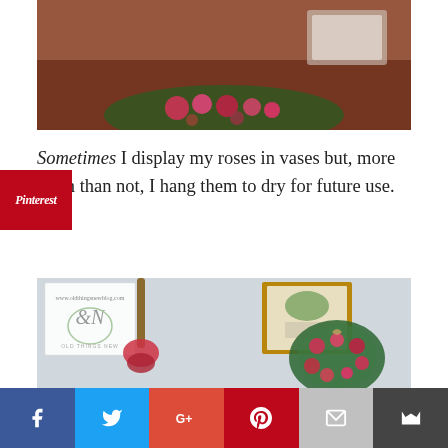[Figure (photo): Close-up photo of dried rose arrangement on a wooden table with a moss heart wreath]
Sometimes I display my roses in vases but, more often than not, I hang them to dry for future use.
[Figure (photo): Photo showing dried roses hanging and a heart-shaped moss wreath decorated with pink and red rosebuds, with a botanical print in a gold frame and an Old Things New watermark logo]
[Figure (logo): Social media share bar with Facebook, Twitter, Google+, Pinterest, Email, and bookmark icons]